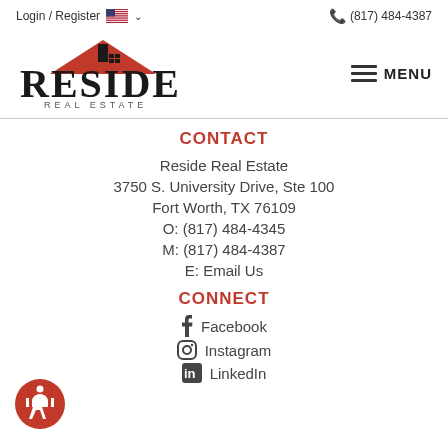Login / Register  (817) 484-4387
[Figure (logo): Reside Real Estate logo with red roof icon and bold RESIDE text]
≡ MENU
CONTACT
Reside Real Estate
3750 S. University Drive, Ste 100
Fort Worth, TX 76109
O: (817) 484-4345
M: (817) 484-4387
E: Email Us
CONNECT
Facebook
Instagram
LinkedIn